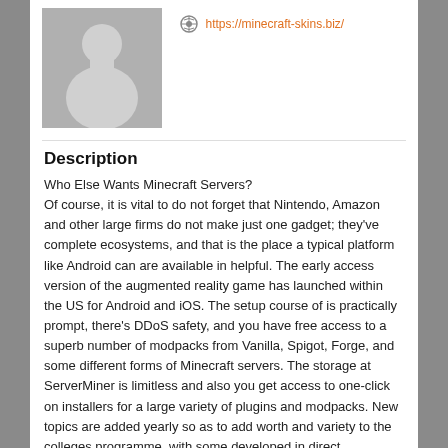[Figure (illustration): Gray placeholder avatar/silhouette of a person on a gray background square]
https://minecraft-skins.biz/
Description
Who Else Wants Minecraft Servers?
Of course, it is vital to do not forget that Nintendo, Amazon and other large firms do not make just one gadget; they've complete ecosystems, and that is the place a typical platform like Android can are available in helpful. The early access version of the augmented reality game has launched within the US for Android and iOS. The setup course of is practically prompt, there's DDoS safety, and you have free access to a superb number of modpacks from Vanilla, Spigot, Forge, and some different forms of Minecraft servers. The storage at ServerMiner is limitless and also you get access to one-click on installers for a large variety of plugins and modpacks. New topics are added yearly so as to add worth and variety to the colleges programme, with some developed in direct collaboration with colleges. In addition, you can also add a few freebies to your package deal, including a 10 slot Mumble server, 45 days of Buycraft Premium, forty five